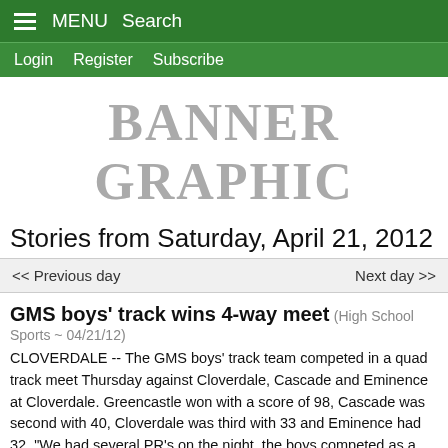MENU  Search
Login  Register  Subscribe
BANNER GRAPHIC
Stories from Saturday, April 21, 2012
<< Previous day   Next day >>
GMS boys' track wins 4-way meet (High School Sports ~ 04/21/12)
CLOVERDALE -- The GMS boys' track team competed in a quad track meet Thursday against Cloverdale, Cascade and Eminence at Cloverdale. Greencastle won with a score of 98, Cascade was second with 40, Cloverdale was third with 33 and Eminence had 32. "We had several PR's on the night, the boys competed as a full team tonight, from our best runners to our new runners," GMS head coach Art Dwigans said...
Davis shoots 37 in Tiger Cubs' tri-  (High School Sports ~